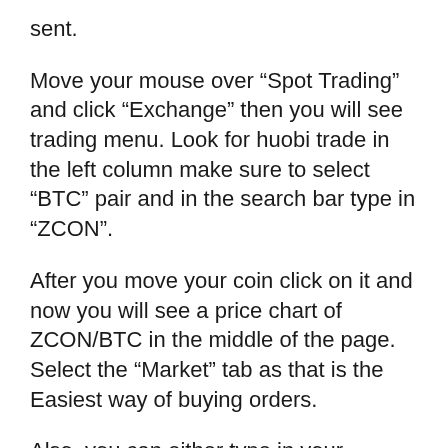sent.
Move your mouse over “Spot Trading” and click “Exchange” then you will see trading menu. Look for huobi trade in the left column make sure to select “BTC” pair and in the search bar type in “ZCON”.
After you move your coin click on it and now you will see a price chart of ZCON/BTC in the middle of the page. Select the “Market” tab as that is the Easiest way of buying orders.
Also, you can either type in your amount or choose what portion of your BTC deposit you would like to spend on buying, by clicking on the percentage buttons.